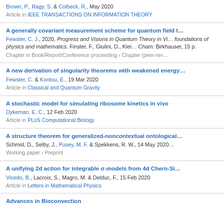Brown, P., Ragy, S. & Colbeck, R., May 2020
Article in IEEE TRANSACTIONS ON INFORMATION THEORY
A generally covariant measurement scheme for quantum field t...
Fewster, C. J., 2020, Progress and Visions in Quantum Theory in Vi... foundations of physics and mathematics. Finster, F., Giulini, D., Klei... Cham: Birkhauser, 15 p.
Chapter in Book/Report/Conference proceeding › Chapter (peer-rev...
A new derivation of singularity theorems with weakened energy...
Fewster, C. & Kontou, E., 19 Mar 2020
Article in Classical and Quantum Gravity
A stochastic model for simulating ribosome kinetics in vivo
Dykeman, E. C., 12 Feb 2020
Article in PLoS Computational Biology
A structure theorem for generalized-noncontextual ontological...
Schmid, D., Selby, J., Pusey, M. F. & Spekkens, R. W., 14 May 2020...
Working paper › Preprint
A unifying 2d action for integrable σ-models from 4d Chern-Si...
Vicedo, B., Lacroix, S., Magro, M. & Delduc, F., 15 Feb 2020
Article in Letters in Mathematical Physics
Advances in Bioconvection